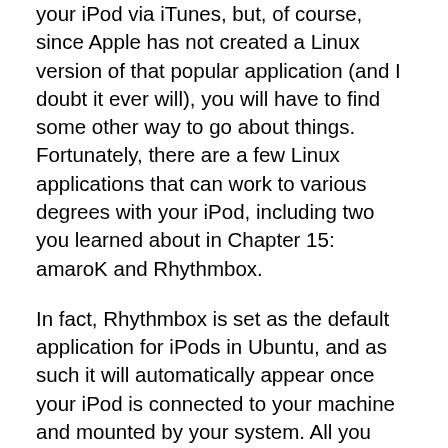your iPod via iTunes, but, of course, since Apple has not created a Linux version of that popular application (and I doubt it ever will), you will have to find some other way to go about things. Fortunately, there are a few Linux applications that can work to various degrees with your iPod, including two you learned about in Chapter 15: amaroK and Rhythmbox.
In fact, Rhythmbox is set as the default application for iPods in Ubuntu, and as such it will automatically appear once your iPod is connected to your machine and mounted by your system. All you have to do then is click the IPOD icon in the left pane of the Rhythmbox window, and you can see the contents of your iPod. Click the small arrow to the right of the IPOD icon in the left pane, and you can also see your collection of playlists. But other than all that saying, there isn't much more you can